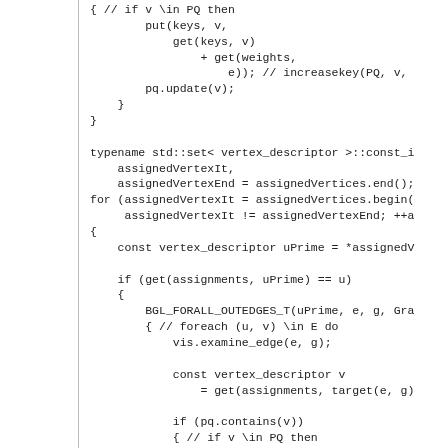Code listing showing a graph algorithm implementation in C++ using BGL (Boost Graph Library), including vertex iteration, edge examination, priority queue operations, and key updates.